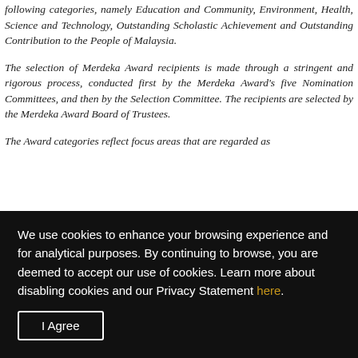following categories, namely Education and Community, Environment, Health, Science and Technology, Outstanding Scholastic Achievement and Outstanding Contribution to the People of Malaysia.
The selection of Merdeka Award recipients is made through a stringent and rigorous process, conducted first by the Merdeka Award's five Nomination Committees, and then by the Selection Committee. The recipients are selected by the Merdeka Award Board of Trustees.
The Award categories reflect focus areas that are regarded as
We use cookies to enhance your browsing experience and for analytical purposes. By continuing to browse, you are deemed to accept our use of cookies. Learn more about disabling cookies and our Privacy Statement here.